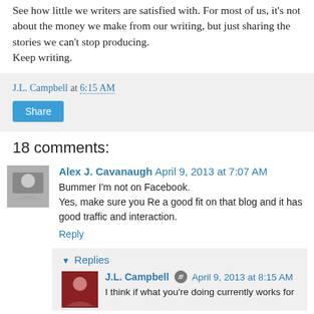See how little we writers are satisfied with. For most of us, it's not about the money we make from our writing, but just sharing the stories we can't stop producing.
Keep writing.
J.L. Campbell at 6:15 AM
Share
18 comments:
Alex J. Cavanaugh April 9, 2013 at 7:07 AM
Bummer I'm not on Facebook.
Yes, make sure you Re a good fit on that blog and it has good traffic and interaction.
Reply
Replies
J.L. Campbell April 9, 2013 at 8:15 AM
I think if what you're doing currently works for